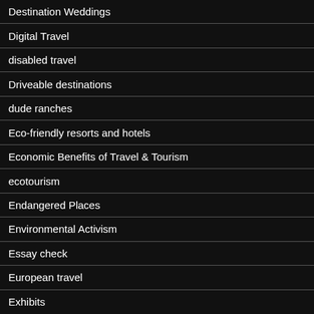Destination Weddings
Digital Travel
disabled travel
Driveable destinations
dude ranches
Eco-friendly resorts and hotels
Economic Benefits of Travel & Tourism
ecotourism
Endangered Places
Environmental Activism
Essay check
European travel
Exhibits